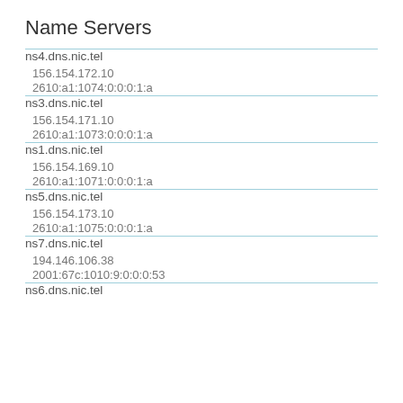Name Servers
| Name Server |
| --- |
| ns4.dns.nic.tel | 156.154.172.10 | 2610:a1:1074:0:0:0:1:a |
| ns3.dns.nic.tel | 156.154.171.10 | 2610:a1:1073:0:0:0:1:a |
| ns1.dns.nic.tel | 156.154.169.10 | 2610:a1:1071:0:0:0:1:a |
| ns5.dns.nic.tel | 156.154.173.10 | 2610:a1:1075:0:0:0:1:a |
| ns7.dns.nic.tel | 194.146.106.38 | 2001:67c:1010:9:0:0:0:53 |
| ns6.dns.nic.tel |  |  |